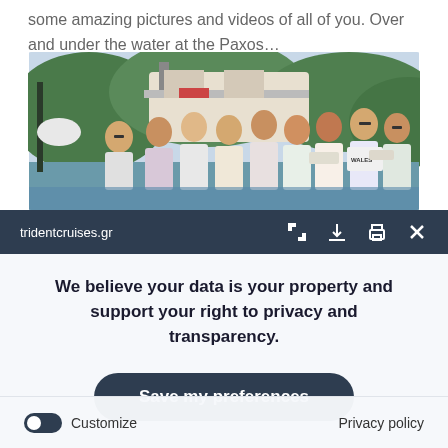some amazing pictures and videos of all of you. Over and under the water at the Paxos...
[Figure (photo): Group photo of approximately 15 people on a boat at Paxos, outdoors near trees and water]
tridentcruises.gr
We believe your data is your property and support your right to privacy and transparency.
Save my preferences
Customize
Privacy policy